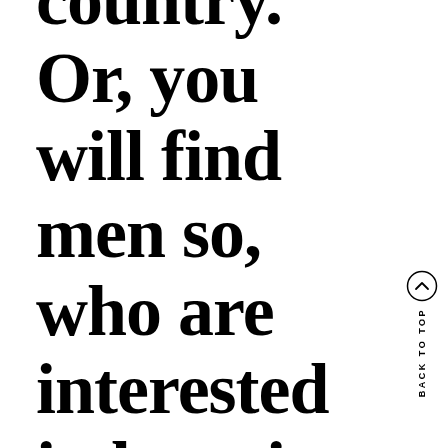country. Or, you will find men so, who are interested in learning a specific label of jewelry.
[Figure (other): Back to top navigation button with upward chevron arrow in circle and vertical 'BACK TO TOP' text label]